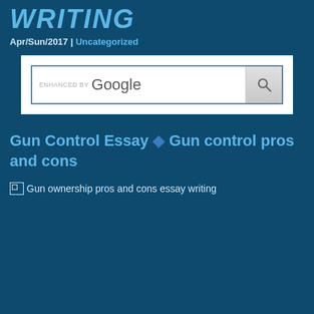WRITING
Apr/Sun/2017 | Uncategorized
[Figure (screenshot): Google search bar widget with 'ENHANCED BY Google' text and a search button with magnifier icon]
Gun Control Essay ◆ Gun control pros and cons
[Figure (photo): Broken image placeholder with alt text: Gun ownership pros and cons essay writing]